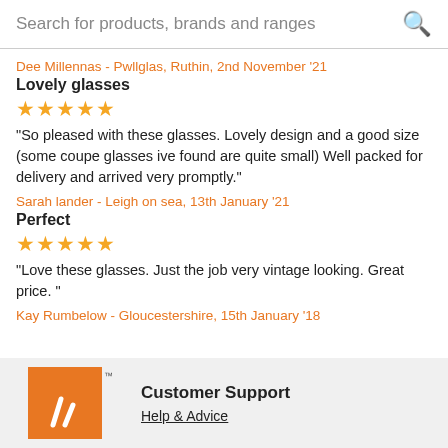Search for products, brands and ranges
Dee Millennas - Pwllglas, Ruthin, 2nd November '21
Lovely glasses
[Figure (other): 5 orange stars rating]
"So pleased with these glasses. Lovely design and a good size (some coupe glasses ive found are quite small) Well packed for delivery and arrived very promptly."
Sarah lander - Leigh on sea, 13th January '21
Perfect
[Figure (other): 5 orange stars rating]
"Love these glasses. Just the job very vintage looking. Great price. "
Kay Rumbelow - Gloucestershire, 15th January '18
Customer Support
Help & Advice